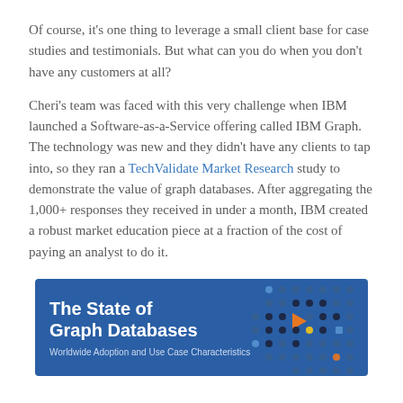Of course, it's one thing to leverage a small client base for case studies and testimonials. But what can you do when you don't have any customers at all?
Cheri's team was faced with this very challenge when IBM launched a Software-as-a-Service offering called IBM Graph. The technology was new and they didn't have any clients to tap into, so they ran a TechValidate Market Research study to demonstrate the value of graph databases. After aggregating the 1,000+ responses they received in under a month, IBM created a robust market education piece at a fraction of the cost of paying an analyst to do it.
[Figure (infographic): Banner image with blue background showing text 'The State of Graph Databases' with subtitle 'Worldwide Adoption and Use Case Characteristics' and decorative dot pattern on the right side]